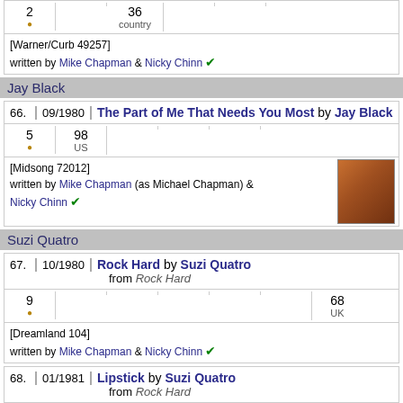| # | Date | 2 | 36 country |
| --- | --- | --- | --- |
| [Warner/Curb 49257] | written by Mike Chapman & Nicky Chinn |
Jay Black
| 66. | 09/1980 | The Part of Me That Needs You Most by Jay Black |
| --- | --- | --- |
| 5 | 98 US |  |  |  |  |  |
| [Midsong 72012] | written by Mike Chapman (as Michael Chapman) & Nicky Chinn |
Suzi Quatro
| 67. | 10/1980 | Rock Hard by Suzi Quatro | from Rock Hard |
| --- | --- | --- | --- |
| 9 |  |  |  |  |  | 68 UK |
| [Dreamland 104] | written by Mike Chapman & Nicky Chinn |
| 68. | 01/1981 | Lipstick by Suzi Quatro | from Rock Hard |
| --- | --- | --- | --- |
| 15 | 51 US |  |  |  |  |  |
| [Dreamland 107] | written by Mike Chapman & Nicky Chinn |